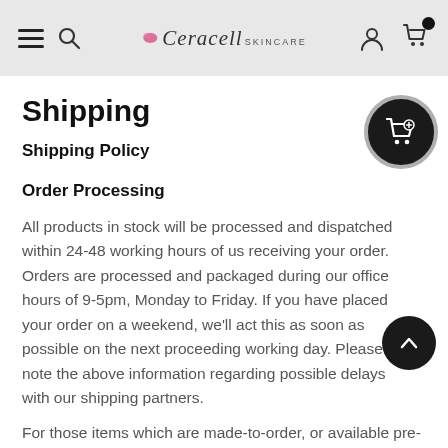Ceracell Skincare — navigation bar with hamburger menu, search, logo, account and cart icons
Shipping
Shipping Policy
Order Processing
All products in stock will be processed and dispatched within 24-48 working hours of us receiving your order. Orders are processed and packaged during our office hours of 9-5pm, Monday to Friday. If you have placed your order on a weekend, we'll act this as soon as possible on the next proceeding working day. Please note the above information regarding possible delays with our shipping partners.
For those items which are made-to-order, or available pre-order